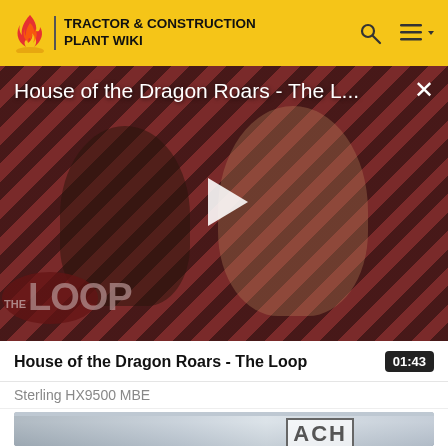TRACTOR & CONSTRUCTION PLANT WIKI
[Figure (screenshot): Video thumbnail for 'House of the Dragon Roars - The Loop' showing two characters from the show against a diagonal stripe background with The Loop branding. A play button is centered on the image.]
House of the Dragon Roars - The Loop
01:43
Sterling HX9500 MBE
[Figure (screenshot): Partial thumbnail of a vehicle/truck image with text 'ACH' visible]